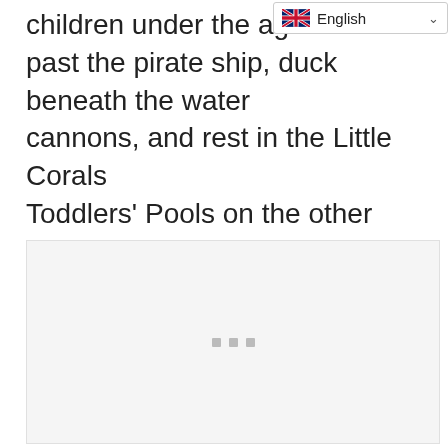children under the age of past the pirate ship, duck beneath the water cannons, and rest in the Little Corals Toddlers' Pools on the other hand.
[Figure (other): A large light grey placeholder image box with three small grey loading indicator squares centered within it, indicating an image is loading.]